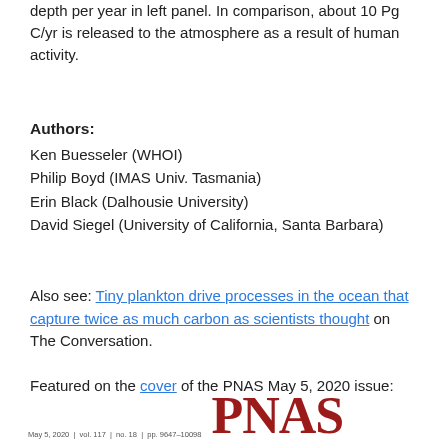depth per year in left panel. In comparison, about 10 Pg C/yr is released to the atmosphere as a result of human activity.
Authors:
Ken Buesseler (WHOI)
Philip Boyd (IMAS Univ. Tasmania)
Erin Black (Dalhousie University)
David Siegel (University of California, Santa Barbara)
Also see: Tiny plankton drive processes in the ocean that capture twice as much carbon as scientists thought on The Conversation.
Featured on the cover of the PNAS May 5, 2020 issue:
[Figure (logo): PNAS journal cover footer showing date May 5, 2020, vol. 117, no. 18, pp. 9647-10098 and large red PNAS letters]